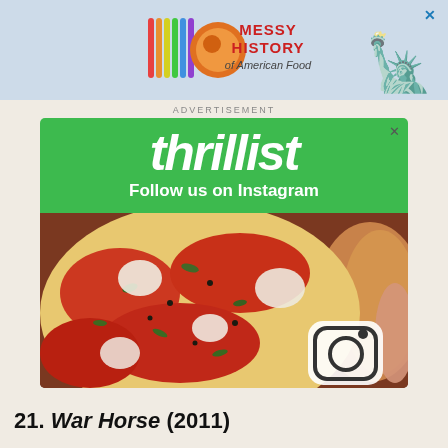[Figure (infographic): Top banner advertisement for 'Messy History of American Food' with colorful logo and Statue of Liberty image on a light blue background, with a close X button]
ADVERTISEMENT
[Figure (infographic): Thrillist advertisement on green background with 'thrillist' logo and 'Follow us on Instagram' text, below which is a photo of pizza/flatbread with toppings and an Instagram logo icon in the bottom right]
21. War Horse (2011)